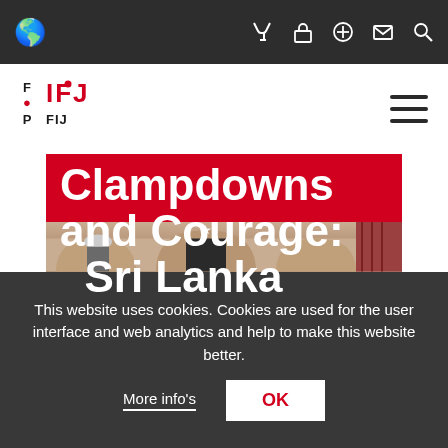IFJ website header navigation
[Figure (logo): IFJ (International Federation of Journalists) logo with FIP text]
Clampdowns and Courage: Sri Lanka
[Figure (photo): Photo of a building exterior with arched colonnade, a star ornament, a soldier in helmet, and red curtains visible through doorway]
This website uses cookies. Cookies are used for the user interface and web analytics and help to make this website better.
More info's
OK